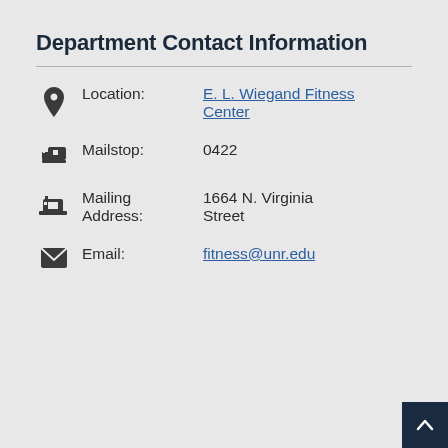Department Contact Information
Location: E. L. Wiegand Fitness Center
Mailstop: 0422
Mailing Address: 1664 N. Virginia Street
Email: fitness@unr.edu